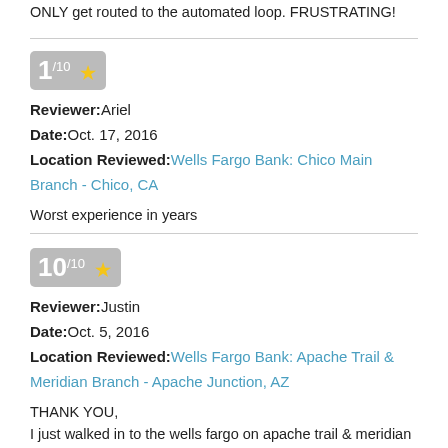ONLY get routed to the automated loop. FRUSTRATING!
1/10 ★
Reviewer: Ariel
Date: Oct. 17, 2016
Location Reviewed: Wells Fargo Bank: Chico Main Branch - Chico, CA

Worst experience in years
10/10 ★
Reviewer: Justin
Date: Oct. 5, 2016
Location Reviewed: Wells Fargo Bank: Apache Trail & Meridian Branch - Apache Junction, AZ

THANK YOU,
I just walked in to the wells fargo on apache trail & meridian and the service was OMG!!! fast. I opened a new checking & savings account. Misty Sampson was my banker and she was amazing. Helped me understand everything and got me in and out in 20 min